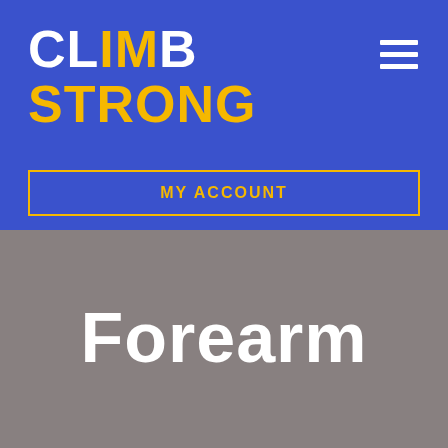[Figure (logo): CLIMB STRONG logo with white text for CLIMB (IM in yellow) and yellow text for STRONG on blue background]
[Figure (other): Hamburger menu icon (three white horizontal lines) in upper right of blue header]
MY ACCOUNT
Forearm